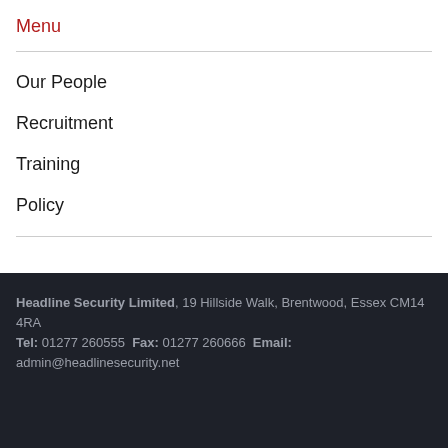Menu
Our People
Recruitment
Training
Policy
Headline Security Limited, 19 Hillside Walk, Brentwood, Essex CM14 4RA Tel: 01277 260555 Fax: 01277 260666 Email: admin@headlinesecurity.net